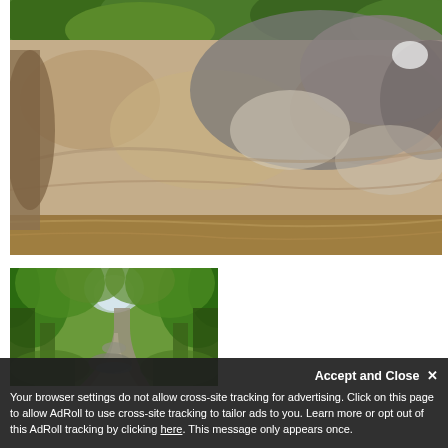[Figure (photo): A wide rocky riverbed or large sloped rock surface with brownish water pooled at the bottom. Green trees and foliage visible at the top of the image. The rock surface shows areas of beige, tan, and dark gray coloring.]
[Figure (photo): A narrow path or dirt road running through a dense green forest canopy. Rocks and a small water feature visible at the center, with lush green trees arching overhead creating a tunnel effect.]
Accept and Close ✕
Your browser settings do not allow cross-site tracking for advertising. Click on this page to allow AdRoll to use cross-site tracking to tailor ads to you. Learn more or opt out of this AdRoll tracking by clicking here. This message only appears once.